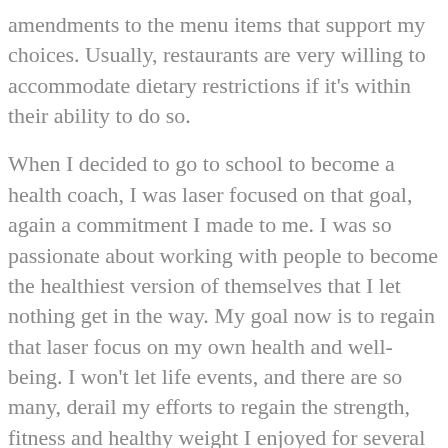amendments to the menu items that support my choices. Usually, restaurants are very willing to accommodate dietary restrictions if it's within their ability to do so.
When I decided to go to school to become a health coach, I was laser focused on that goal, again a commitment I made to me. I was so passionate about working with people to become the healthiest version of themselves that I let nothing get in the way. My goal now is to regain that laser focus on my own health and well-being. I won't let life events, and there are so many, derail my efforts to regain the strength, fitness and healthy weight I enjoyed for several years after my cancer diagnosis. Again, I am pledging this to you, reader, because it makes it